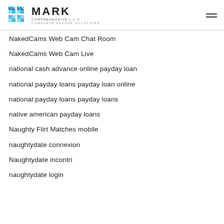MARK COMPREHENSIVE L.L.C COMPLETE FACADE SOLUTIONS
NakedCams Web Cam Chat Room
NakedCams Web Cam Live
national cash advance online payday loan
national payday loans payday loan online
national payday loans payday loans
native american payday loans
Naughty Flirt Matches mobile
naughtydate connexion
Naughtydate incontri
naughtydate login